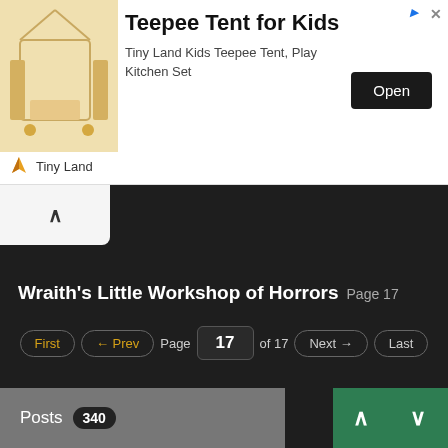[Figure (screenshot): Advertisement banner for Teepee Tent for Kids by Tiny Land with an Open button]
Teepee Tent for Kids
Tiny Land Kids Teepee Tent, Play Kitchen Set
Tiny Land
Wraith's Little Workshop of Horrors Page 17
First ← Prev Page 17 of 17 Next → Last
Posts 340